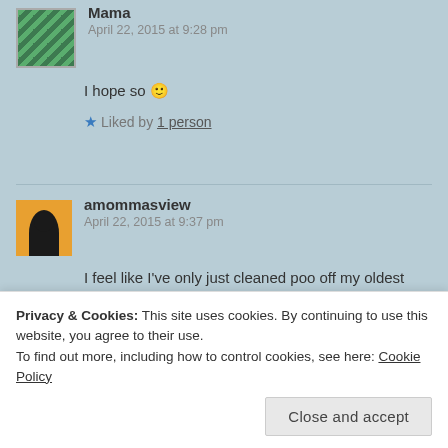Mama
April 22, 2015 at 9:28 pm
I hope so 🙂
★ Liked by 1 person
amommasview
April 22, 2015 at 9:37 pm
I feel like I've only just cleaned poo off my oldest behind and he's almost a teenager already!!!
★ Liked by 1 person
Privacy & Cookies: This site uses cookies. By continuing to use this website, you agree to their use.
To find out more, including how to control cookies, see here: Cookie Policy
Close and accept